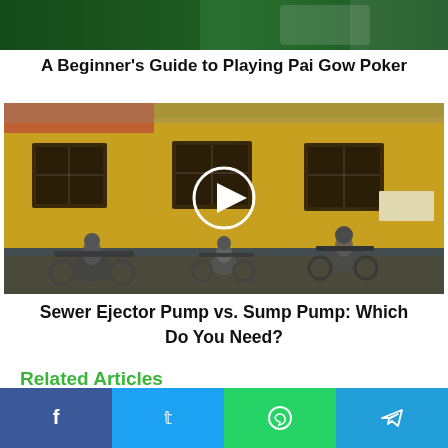[Figure (photo): Top portion of a poker/card game photo showing green background, partial view of hands]
A Beginner’s Guide to Playing Pai Gow Poker
[Figure (photo): Video thumbnail showing people riding bicycles in front of a yellow weathered building wall, with a white play button circle overlay in the center]
Sewer Ejector Pump vs. Sump Pump: Which Do You Need?
Related Articles
[Figure (screenshot): Bottom strip showing related article thumbnails partially visible and social sharing buttons for Facebook, Twitter, WhatsApp, and Telegram]